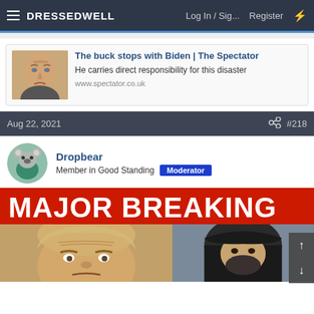DRESSEDWELL   Log In / Sig...   Register
[Figure (screenshot): Article card with thumbnail photo of Biden and link to The Spectator article]
The buck stops with Biden | The Spectator
He carries direct responsibility for this disaster
www.spectator.co.uk
Aug 22, 2021   #218
Dropbear
Member in Good Standing   Moderator
[Figure (photo): MAJOR BREAKING news banner in red with white bold text, below shows two faces - left appears to be Trump, right appears to be a Taliban figure]